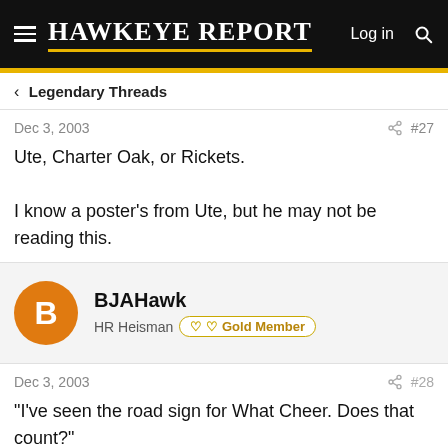Hawkeye Report | Log in | Search
< Legendary Threads
Dec 3, 2003   #27
Ute, Charter Oak, or Rickets.

I know a poster's from Ute, but he may not be reading this.
BJAHawk
HR Heisman  Gold Member
Dec 3, 2003   #28
"I've seen the road sign for What Cheer. Does that count?"

Since I've only drove through the town, I'll except that,